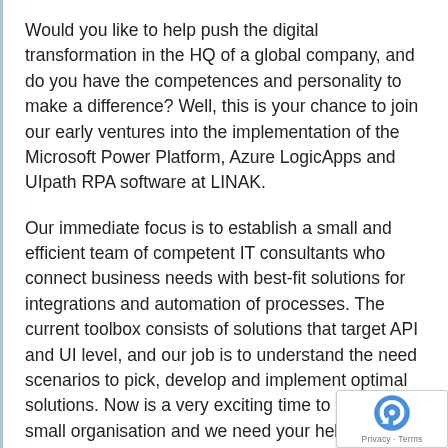Would you like to help push the digital transformation in the HQ of a global company, and do you have the competences and personality to make a difference? Well, this is your chance to join our early ventures into the implementation of the Microsoft Power Platform, Azure LogicApps and UIpath RPA software at LINAK.
Our immediate focus is to establish a small and efficient team of competent IT consultants who connect business needs with best-fit solutions for integrations and automation of processes. The current toolbox consists of solutions that target API and UI level, and our job is to understand the need scenarios to pick, develop and implement optimal solutions. Now is a very exciting time to onboard a small organisation and we need your help to build momentum.